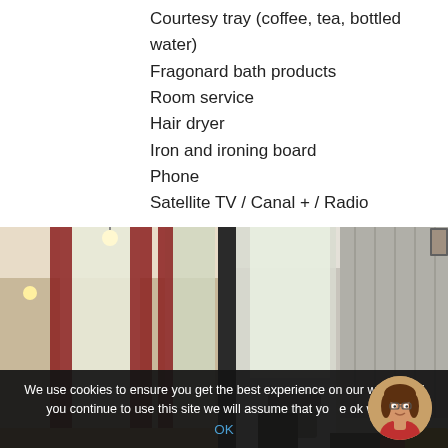Courtesy tray (coffee, tea, bottled water)
Fragonard bath products
Room service
Hair dryer
Iron and ironing board
Phone
Satellite TV / Canal + / Radio
[Figure (photo): Two-panel hotel room photo: left panel shows a living area with a leather sofa, armchair, coffee table and red curtains; right panel shows a bedroom with a large bed, colorful pillows and sheer curtains]
We use cookies to ensure you get the best experience on our website. If you continue to use this site we will assume that you are ok with it.
OK